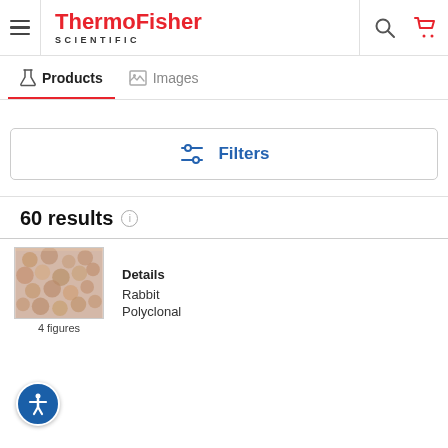ThermoFisher SCIENTIFIC — navigation header with hamburger menu, search, and cart icons
Products   Images
Filters
60 results
[Figure (photo): Microscopy tissue staining image showing cellular structures in brown/beige tones]
4 figures
Details
Rabbit
Polyclonal